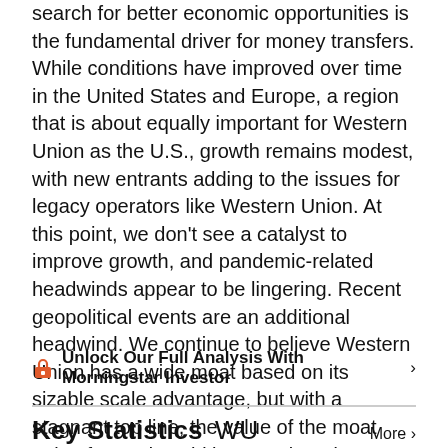search for better economic opportunities is the fundamental driver for money transfers. While conditions have improved over time in the United States and Europe, a region that is about equally important for Western Union as the U.S., growth remains modest, with new entrants adding to the issues for legacy operators like Western Union. At this point, we don't see a catalyst to improve growth, and pandemic-related headwinds appear to be lingering. Recent geopolitical events are an additional headwind. We continue to believe Western Union has a wide moat based on its sizable scale advantage, but with a stagnant top line, the value of the moat going forward could be questioned.
🔒 Unlock Our Full Analysis With Morningstar Investor ›
Key Statistics WU